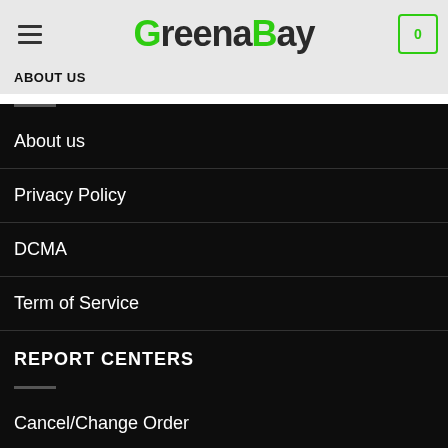GreenaBay
ABOUT US
About us
Privacy Policy
DCMA
Term of Service
REPORT CENTERS
Cancel/Change Order
Shipping & Delivery
HELP